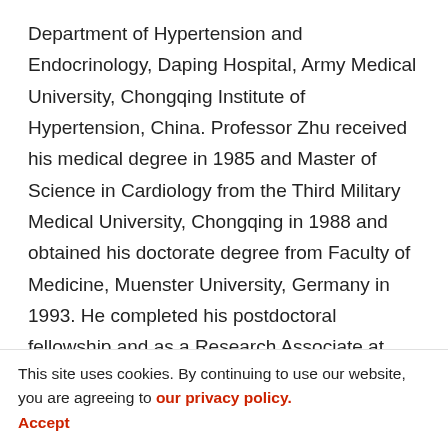Department of Hypertension and Endocrinology, Daping Hospital, Army Medical University, Chongqing Institute of Hypertension, China. Professor Zhu received his medical degree in 1985 and Master of Science in Cardiology from the Third Military Medical University, Chongqing in 1988 and obtained his doctorate degree from Faculty of Medicine, Muenster University, Germany in 1993. He completed his postdoctoral fellowship and as a Research Associate at Department of Cell Biology and Physiology in University of North Carolina at Chapel Hill, USA from 1994 to 1997. He is a Visiting
Professor in Riley Heart Research Center at School of Medicine in Indiana University-Purdue University Indianapolis in 2002. Professor Zhu's research interests focus on the mechanism and treatment of
This site uses cookies. By continuing to use our website, you are agreeing to our privacy policy. Accept